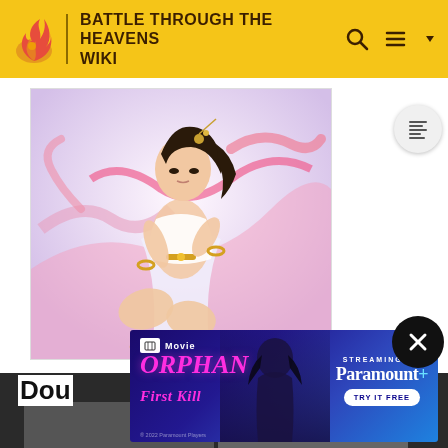BATTLE THROUGH THE HEAVENS WIKI
[Figure (illustration): Fantasy anime-style illustration of a young woman in white and pink flowing robes with gold accessories, seated pose, with colorful ribbons and decorative hair ornaments]
Dou
[Figure (screenshot): Advertisement for Orphan: First Kill movie, streaming on Paramount+, with dark blue/purple gradient background, showing movie title in pink text and a silhouetted figure]